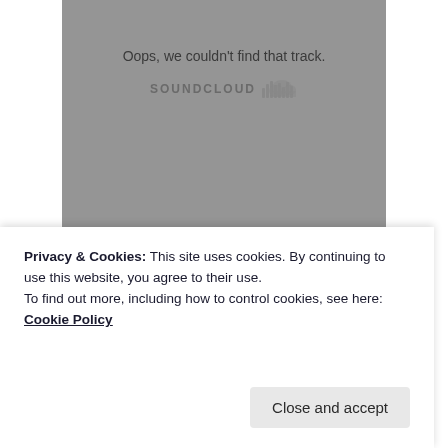[Figure (screenshot): SoundCloud embedded player showing error message 'Oops, we couldn't find that track.' with SoundCloud logo, orange 'Play on SoundCloud' button, and gray 'Listen in browser' button on a gray background]
Privacy & Cookies: This site uses cookies. By continuing to use this website, you agree to their use.
To find out more, including how to control cookies, see here: Cookie Policy
Close and accept